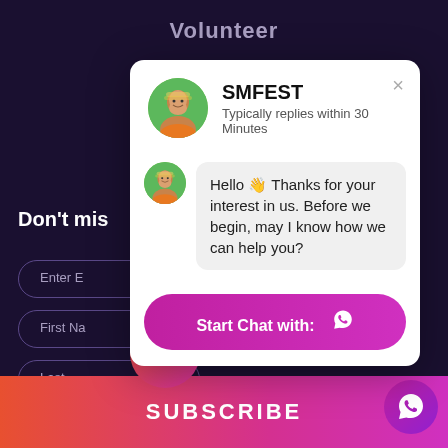Volunteer
Don't mis
[Figure (screenshot): Chat popup modal for SMFEST showing avatar, brand name, reply time, greeting message, and Start Chat with WhatsApp button]
Start Chat with: [WhatsApp icon]
SUBSCRIBE